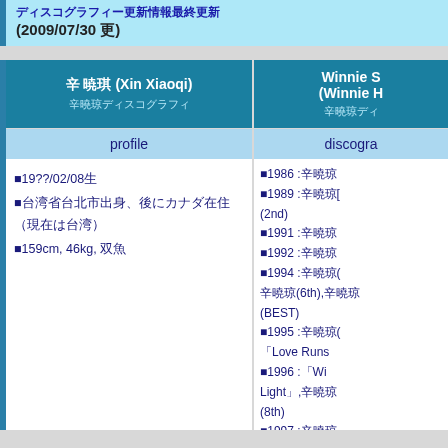（2009/07/30 更）
| 辛 暁琪 (Xin Xiaoqi) 辛曉琪ディスコグラフィ | Winnie S (Winnie H) 辛暁琪 |
| --- | --- |
| profile | discography |
| ■19??/02/08生
■台湾省台北市出身、後にカナダ在住（現在は台湾）
■159cm, 46kg, 双魚 | ■1986 :辛曉琪
■1989 :辛曉琪[
(2nd)
■1991 :辛曉琪
■1992 :辛曉琪
■1994 :辛曉琪(辛曉琪(6th),辛曉琪
(BEST)
■1995 :辛曉琪(辛曉琪
「Love Runs
■1996 :「Wi
Light」,辛曉琪
(8th)
■1997 :辛曉琪
(9th)
■1998 :辛曉琪 |